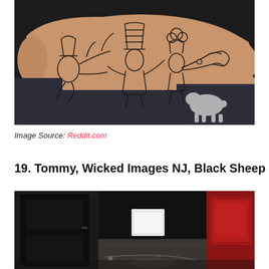[Figure (photo): Close-up photo of a person's ankle/foot showing a black line tattoo of cartoon-style characters including what appears to be Dr. Seuss-like figures with hats, musical instruments and whimsical elements. A dark fabric with a white sheep/dog print is visible in the background.]
Image Source: Reddit.com
19. Tommy, Wicked Images NJ, Black Sheep
[Figure (photo): Partial photo of what appears to be a tattoo shop or studio interior, showing dark walls, a red chair or furniture piece, and some equipment. The image is partially cropped at the bottom of the page.]